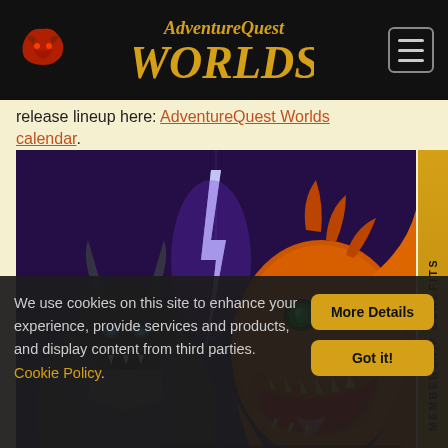AdventureQuest Worlds
release lineup here: AdventureQuest Worlds calendar.
[Figure (illustration): Game banner showing armored dragon character on left with blue glowing eyes, large orange/red dragon on right with green eyes and open mouth with gold teeth, lightning bolt in center background, text overlay reading 'LOG IN FOR NEW GIFTS' in bold gold letters on dark fantasy background]
Flash is Dead. AOWorlds lives on with the Artix
We use cookies on this site to enhance your experience, provide services and products, and display content from third parties. Cookie Policy.